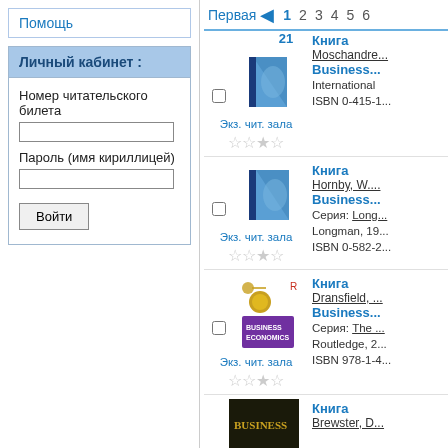Помощь
Личный кабинет :
Номер читательского билета
Пароль (имя кириллицей)
Войти
Первая  1  2  3  4  5  6
21
[Figure (illustration): Blue book icon]
Экз. чит. зала
Книга
Moschandre...
Business...
International
ISBN 0-415-1...
[Figure (illustration): Blue book icon]
Экз. чит. зала
Книга
Hornby, W....
Business...
Серия: Long...
Longman, 19...
ISBN 0-582-2...
[Figure (illustration): Business Economics book cover with coin and keys]
Экз. чит. зала
Книга
Dransfield, ...
Business...
Серия: The ...
Routledge, 2...
ISBN 978-1-4...
[Figure (illustration): Business book cover (dark, partial)]
Книга
Brewster, D...